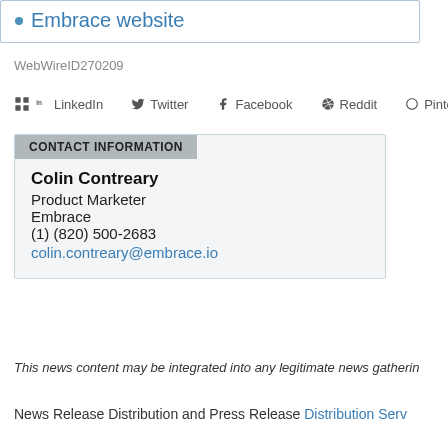Embrace website
WebWireID270209
LinkedIn  Twitter  Facebook  Reddit  Pinterest
CONTACT INFORMATION
Colin Contreary
Product Marketer
Embrace
(1) (820) 500-2683
colin.contreary@embrace.io
This news content may be integrated into any legitimate news gatherin
News Release Distribution and Press Release Distribution Serv